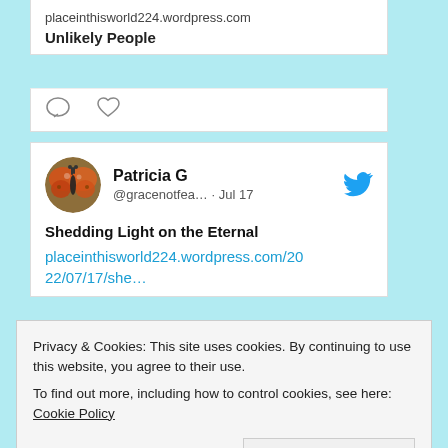placeinthisworld224.wordpress.com
Unlikely People
[Figure (other): Comment and heart/like icons]
Patricia G @gracenotfea… · Jul 17
Shedding Light on the Eternal placeinthisworld224.wordpress.com/2022/07/17/she…
[Figure (photo): Galaxy photo - dark space image with stars and nebula]
Privacy & Cookies: This site uses cookies. By continuing to use this website, you agree to their use.
To find out more, including how to control cookies, see here: Cookie Policy
Close and accept
Shedding Light on the Eternal